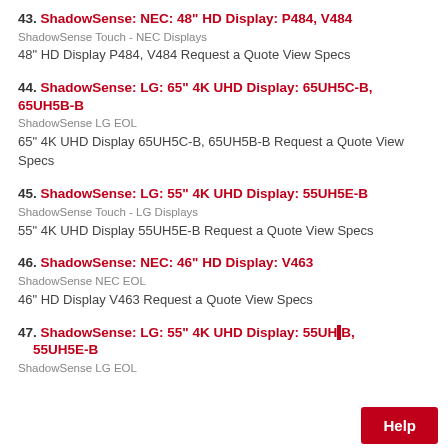43. ShadowSense: NEC: 48" HD Display: P484, V484
ShadowSense Touch - NEC Displays
48" HD Display P484, V484 Request a Quote View Specs
44. ShadowSense: LG: 65" 4K UHD Display: 65UH5C-B, 65UH5B-B
ShadowSense LG EOL
65" 4K UHD Display 65UH5C-B, 65UH5B-B Request a Quote View Specs
45. ShadowSense: LG: 55" 4K UHD Display: 55UH5E-B
ShadowSense Touch - LG Displays
55" 4K UHD Display 55UH5E-B Request a Quote View Specs
46. ShadowSense: NEC: 46" HD Display: V463
ShadowSense NEC EOL
46" HD Display V463 Request a Quote View Specs
47. ShadowSense: LG: 55" 4K UHD Display: 55UH..B, 55UH5E-B
ShadowSense LG EOL